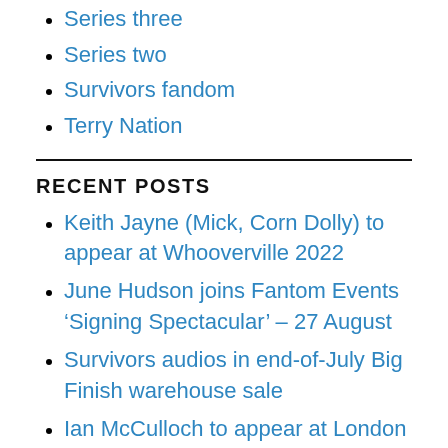Series three
Series two
Survivors fandom
Terry Nation
RECENT POSTS
Keith Jayne (Mick, Corn Dolly) to appear at Whooverville 2022
June Hudson joins Fantom Events ‘Signing Spectacular’ – 27 August
Survivors audios in end-of-July Big Finish warehouse sale
Ian McCulloch to appear at London Film Fair,